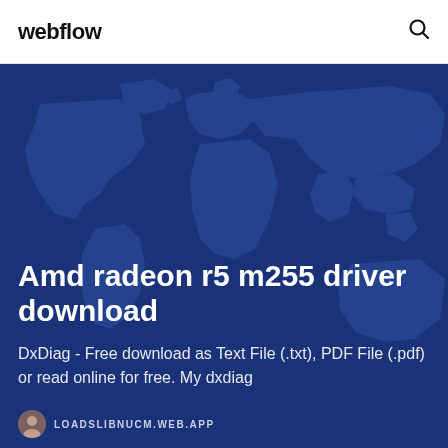webflow
[Figure (illustration): Dark blue world map background image used as hero section backdrop, showing continental outlines in slightly lighter blue tones against dark blue background.]
Amd radeon r5 m255 driver download
DxDiag - Free download as Text File (.txt), PDF File (.pdf) or read online for free. My dxdiag
LOADSLIBNUCM.WEB.APP